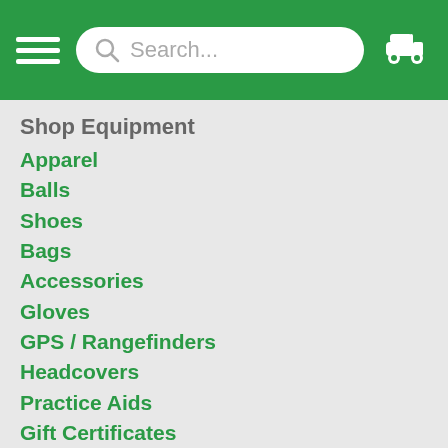[Figure (screenshot): Green navigation header with hamburger menu, search bar, and golf cart icon]
Shop Equipment
Apparel
Balls
Shoes
Bags
Accessories
Gloves
GPS / Rangefinders
Headcovers
Practice Aids
Gift Certificates
Don't forget to join in the conversation!
[Figure (illustration): Social media icons: Facebook, Twitter, Pinterest, YouTube]